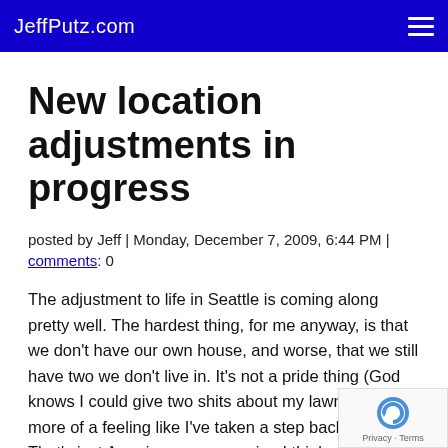JeffPutz.com
New location adjustments in progress
posted by Jeff | Monday, December 7, 2009, 6:44 PM | comments: 0
The adjustment to life in Seattle is coming along pretty well. The hardest thing, for me anyway, is that we don't have our own house, and worse, that we still have two we don't live in. It's not a pride thing (God knows I could give two shits about my lawn ;)), but more of a feeling like I've taken a step backward. That's just American programming I think an awfully good time to get in to the market, especia around here.